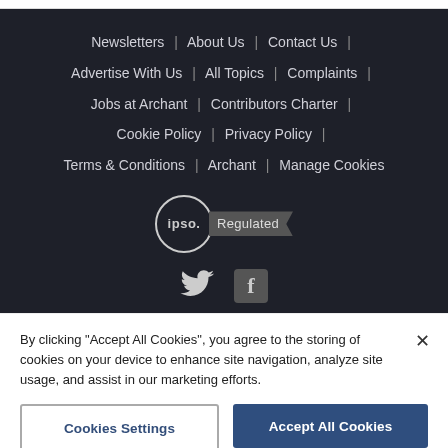Newsletters | About Us | Contact Us | Advertise With Us | All Topics | Complaints | Jobs at Archant | Contributors Charter | Cookie Policy | Privacy Policy | Terms & Conditions | Archant | Manage Cookies
[Figure (logo): IPSO Regulated badge: circle with 'ipso.' text and a ribbon-style 'Regulated' label]
[Figure (infographic): Twitter bird icon and Facebook 'f' box icon social media links]
By clicking "Accept All Cookies", you agree to the storing of cookies on your device to enhance site navigation, analyze site usage, and assist in our marketing efforts.
Cookies Settings   Accept All Cookies